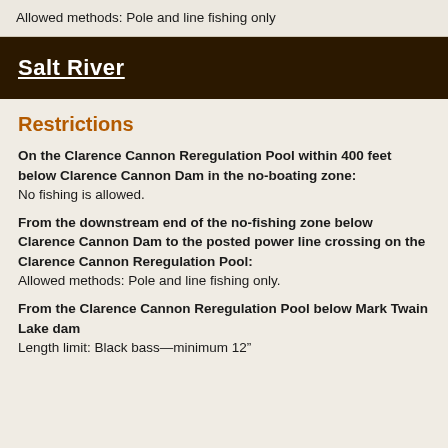Allowed methods: Pole and line fishing only
Salt River
Restrictions
On the Clarence Cannon Reregulation Pool within 400 feet below Clarence Cannon Dam in the no-boating zone:
No fishing is allowed.
From the downstream end of the no-fishing zone below Clarence Cannon Dam to the posted power line crossing on the Clarence Cannon Reregulation Pool:
Allowed methods: Pole and line fishing only.
From the Clarence Cannon Reregulation Pool below Mark Twain Lake dam
Length limit: Black bass—minimum 12"